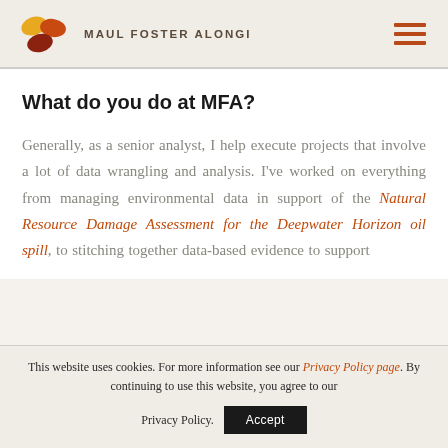MAUL FOSTER ALONGI
What do you do at MFA?
Generally, as a senior analyst, I help execute projects that involve a lot of data wrangling and analysis. I've worked on everything from managing environmental data in support of the Natural Resource Damage Assessment for the Deepwater Horizon oil spill, to stitching together data-based evidence to support
This website uses cookies. For more information see our Privacy Policy page. By continuing to use this website, you agree to our Privacy Policy. Accept